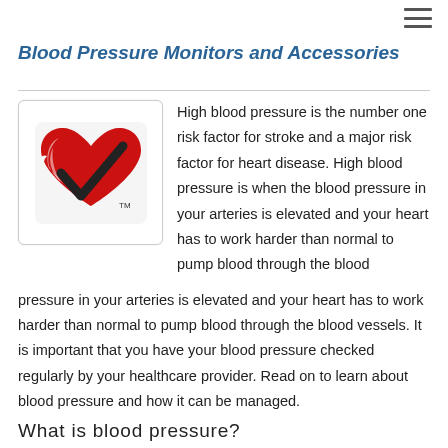≡
Blood Pressure Monitors and Accessories
[Figure (logo): Heart and Stroke Foundation logo: a red heart shape with a white checkmark inside, and 'TM' superscript, on a white rounded-rectangle background.]
High blood pressure is the number one risk factor for stroke and a major risk factor for heart disease. High blood pressure is when the blood pressure in your arteries is elevated and your heart has to work harder than normal to pump blood through the blood vessels. It is important that you have your blood pressure checked regularly by your healthcare provider. Read on to learn about blood pressure and how it can be managed.
What is blood pressure?